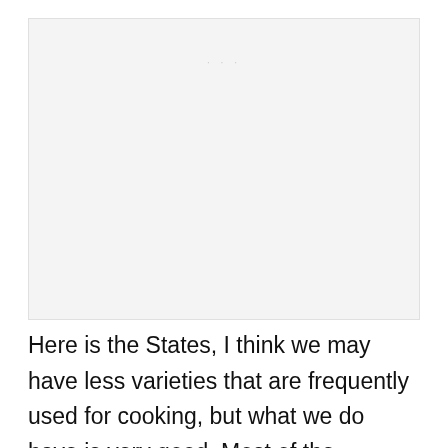[Figure (photo): Large image placeholder area at the top of the page, light gray background]
Here is the States, I think we may have less varieties that are frequently used for cooking, but what we do have is very good. Most of the common cooking pumpkins found at large supermarkets are labeled Pie or Sugar Pumpkins. Local farmers